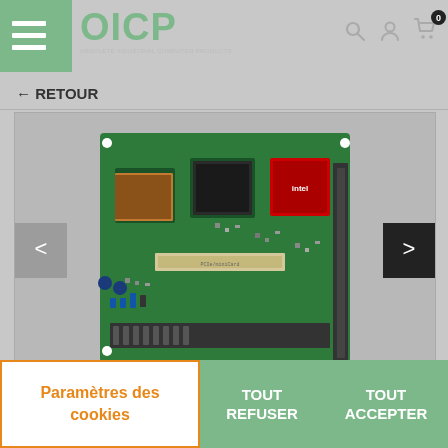OICP - OBSOLETE INDUSTRIAL COMPUTER PRODUCTS
← RETOUR
[Figure (photo): Close-up photo of a green industrial computer motherboard/single-board computer with Intel processor chips, memory connectors, and various electronic components visible.]
Paramètres des cookies
TOUT REFUSER
TOUT ACCEPTER